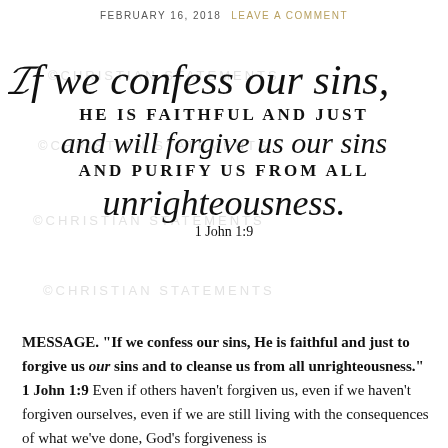FEBRUARY 16, 2018   LEAVE A COMMENT
[Figure (illustration): Decorative Bible verse image with calligraphy and serif text reading: 'If we confess our sins, HE IS FAITHFUL AND JUST and will forgive us our sins AND PURIFY US FROM ALL unrighteousness. 1 John 1:9' with watermarks reading ©CHRISTIAN STATEMENTS in background.]
MESSAGE. "If we confess our sins, He is faithful and just to forgive us our sins and to cleanse us from all unrighteousness." 1 John 1:9 Even if others haven't forgiven us, even if we haven't forgiven ourselves, even if we are still living with the consequences of what we've done, God's forgiveness is